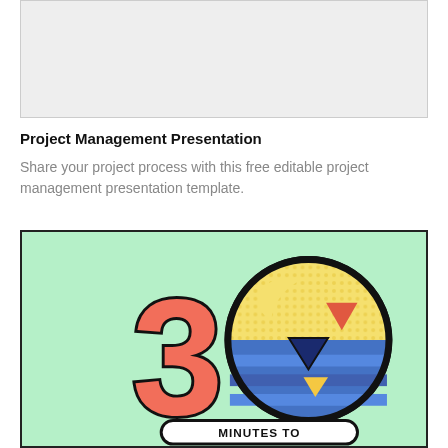[Figure (illustration): Gray placeholder rectangle at the top of the page]
Project Management Presentation
Share your project process with this free editable project management presentation template.
[Figure (illustration): Colorful graphic showing '30 MINUTES TO' text with large stylized numbers 3 and 0; the 0 is decorated with yellow, blue, and geometric shapes on a mint green background]